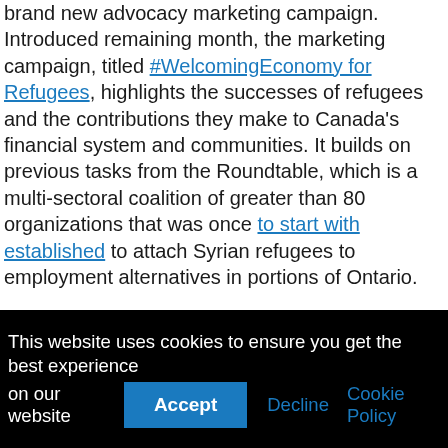brand new advocacy marketing campaign. Introduced remaining month, the marketing campaign, titled #WelcomingEconomy for Refugees, highlights the successes of refugees and the contributions they make to Canada's financial system and communities. It builds on previous tasks from the Roundtable, which is a multi-sectoral coalition of greater than 80 organizations that was once to start with established to attach Syrian refugees to employment alternatives in portions of Ontario.

Given present hard work shortages in Canada, the abilities of refugees might be wanted around the nation. In keeping with a up to date Statistics Canada file, process vacancies rose in lots of industries and in all Canadian provinces and territories.
This website uses cookies to ensure you get the best experience on our website
Accept | Decline | Cookie Policy